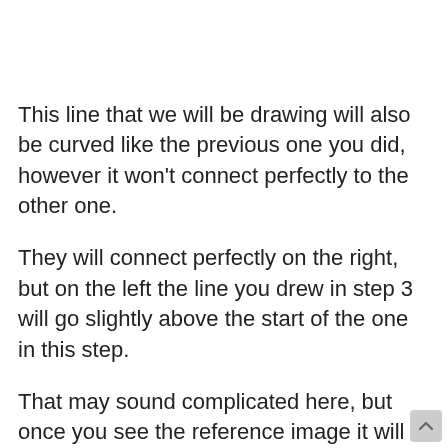This line that we will be drawing will also be curved like the previous one you did, however it won't connect perfectly to the other one.
They will connect perfectly on the right, but on the left the line you drew in step 3 will go slightly above the start of the one in this step.
That may sound complicated here, but once you see the reference image it will become very clear! Then we just have a few final details to add, so let's move on!